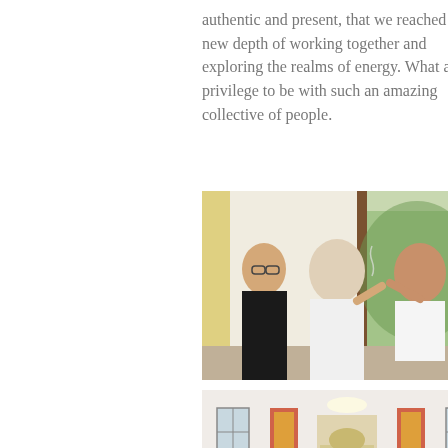authentic and present, that we reached a new depth of working together and exploring the realms of energy. What a privilege to be with such an amazing collective of people.
[Figure (photo): Two people sitting cross-legged facing each other with hands raised, appearing to do an energy healing or yoga exercise. A woman with glasses sits in the background on the left. The setting is a bright room with yellow curtains and greenery visible through a door.]
[Figure (photo): A group of people sitting in a circle in a meditation or yoga room. One person stands in the center. The room has a red carpet, white walls, windows on either side, and decorated altars or banners on the back wall.]